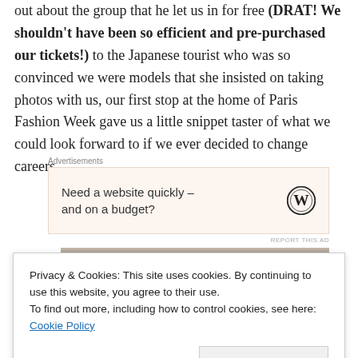out about the group that he let us in for free (DRAT! We shouldn't have been so efficient and pre-purchased our tickets!) to the Japanese tourist who was so convinced we were models that she insisted on taking photos with us, our first stop at the home of Paris Fashion Week gave us a little snippet taster of what we could look forward to if we ever decided to change careers…
[Figure (other): Advertisement box with text 'Need a website quickly – and on a budget?' and WordPress logo on beige background]
[Figure (photo): Partial photograph showing dark interior scene, partially obscured by cookie banner]
Privacy & Cookies: This site uses cookies. By continuing to use this website, you agree to their use.
To find out more, including how to control cookies, see here: Cookie Policy
Close and accept
Advertisements